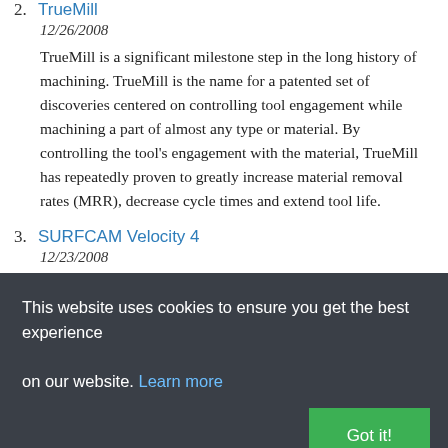2. TrueMill
12/26/2008
TrueMill is a significant milestone step in the long history of machining. TrueMill is the name for a patented set of discoveries centered on controlling tool engagement while machining a part of almost any type or material. By controlling the tool's engagement with the material, TrueMill has repeatedly proven to greatly increase material removal rates (MRR), decrease cycle times and extend tool life.
3. SURFCAM Velocity 4
12/23/2008
SURFCAM Velocity 4 CAD/CAM software provides an amazing array of new, top quality and versatile features. Add to this an enhanced user
This website uses cookies to ensure you get the best experience on our website. Learn more